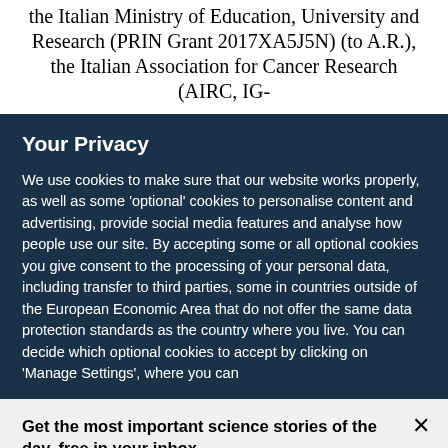the Italian Ministry of Education, University and Research (PRIN Grant 2017XA5J5N) (to A.R.), the Italian Association for Cancer Research (AIRC, IG-
Your Privacy
We use cookies to make sure that our website works properly, as well as some 'optional' cookies to personalise content and advertising, provide social media features and analyse how people use our site. By accepting some or all optional cookies you give consent to the processing of your personal data, including transfer to third parties, some in countries outside of the European Economic Area that do not offer the same data protection standards as the country where you live. You can decide which optional cookies to accept by clicking on 'Manage Settings', where you can
Get the most important science stories of the day, free in your inbox.
Sign up for Nature Briefing